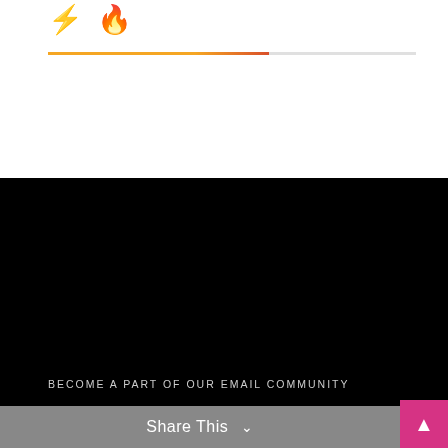[Figure (logo): Two icons: a yellow/orange lightning bolt and a red flame/droplet icon, followed by a horizontal divider line in orange-red gradient]
BECOME A PART OF OUR EMAIL COMMUNITY
Email (Required)
Phone
Share This